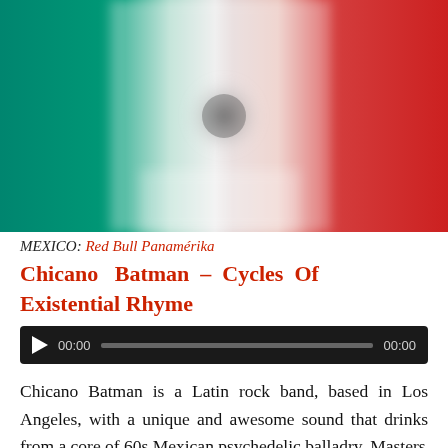[Figure (photo): Mexican flag image, blurred/stylized, showing green, white, and red vertical stripes with a faint eagle emblem in the center.]
MEXICO: Red Bull Panamérika
Chicano Batman – Cycles Of Existential Rhyme
[Figure (other): Audio player widget with dark background, play button, time display 00:00, progress bar, and end time 00:00.]
Chicano Batman is a Latin rock band, based in Los Angeles, with a unique and awesome sound that drinks from a core of 60s Mexican psychedelic balladry. Masters